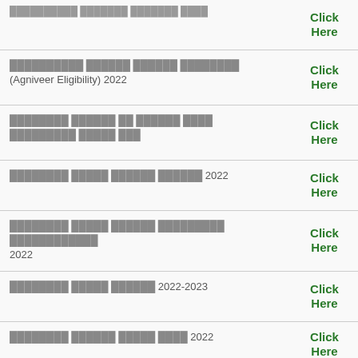अग्निपथ योजना भर्ती पात्रता (Agniveer Eligibility) 2022 | Click Here
अग्निपथ भर्ती के लिए ऊंचाई वजन मेडिकल चार्ट यहां | Click Here
अग्निपथ सेना भर्ती रैली 2022 | Click Here
अग्निपथ सेना भर्ती आयु सीमा अग्निवीरसेना 2022 | Click Here
अग्निपथ भर्ती सैलरी 2022-2023 | Click Here
अग्निपथ सेना भर्ती फॉर्म 2022 | Click Here